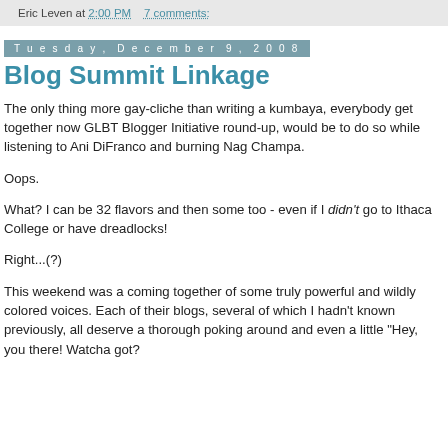Eric Leven at 2:00 PM   7 comments:
Tuesday, December 9, 2008
Blog Summit Linkage
The only thing more gay-cliche than writing a kumbaya, everybody get together now GLBT Blogger Initiative round-up, would be to do so while listening to Ani DiFranco and burning Nag Champa.
Oops.
What? I can be 32 flavors and then some too - even if I didn't go to Ithaca College or have dreadlocks!
Right...(?)
This weekend was a coming together of some truly powerful and wildly colored voices. Each of their blogs, several of which I hadn't known previously, all deserve a thorough poking around and even a little "Hey, you there! Watcha got?